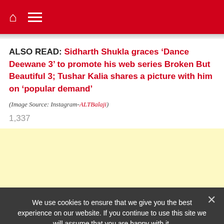Navigation bar with home icon and menu icon
ALSO READ: Sidharth Shukla graces ‘Dance Deewane 3’ to promote his web series Broken But Beautiful 3; Tushar Kalia shares a picture with him on ‘popular demand’
(Image Source: Instagram-ALTBalaji)
1,337
[Figure (other): Yellow advertisement banner area]
We use cookies to ensure that we give you the best experience on our website. If you continue to use this site we will assume that you are happy with it.